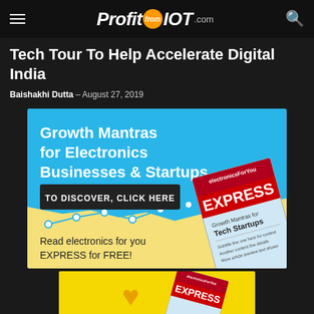Profit from IOT .com
Tech Tour To Help Accelerate Digital India
Baishakhi Dutta - August 27, 2019
[Figure (illustration): Advertisement banner for ElectronicsForYou EXPRESS magazine showing Growth Mantras for Electronics Businesses & Startups with a line chart, a black button 'TO DISCOVER, CLICK HERE', and text 'Read electronics for you EXPRESS for FREE!']
[Figure (illustration): Partial view of a second advertisement banner with yellow background and ElectronicsForYou EXPRESS magazine cover]